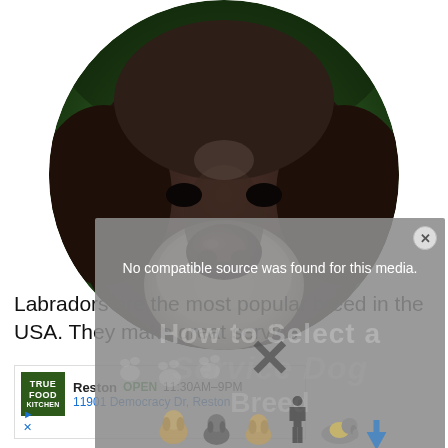[Figure (photo): Close-up circular photo of an elderly chocolate Labrador dog's face with graying muzzle against a green background]
[Figure (screenshot): Video player overlay showing 'No compatible source was found for this media.' error with a close (X) button, and dimmed background showing 'How to Select a Service Dog Breed' text with dog breed icons and silhouettes]
Labradors are the most popular breed in the USA. They make great service
[Figure (screenshot): Advertisement banner for True Food Kitchen in Reston, showing OPEN 11:30AM-9PM, 11901 Democracy Dr, Reston]